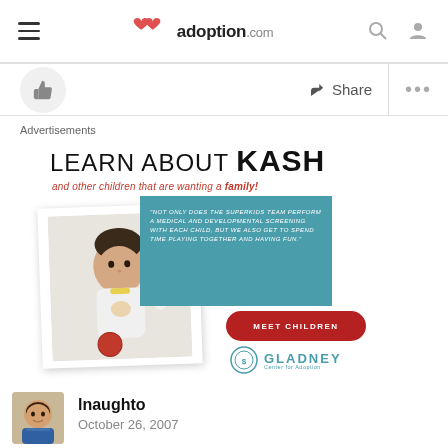adoption.com
Share
Advertisements
[Figure (infographic): Gladney Center for Adoption advertisement. Headline: LEARN ABOUT KASH. Subtitle: and other children that are wanting a family! Photo of a toddler boy. Teal box with quote about SuperKids team. Red button saying MEET CHILDREN. Gladney Center for Adoption logo.]
lnaughto
October 26, 2007